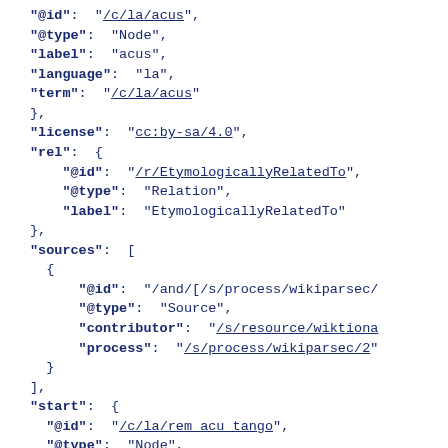JSON code snippet showing fields: @id, @type, label, language, term, license, rel, sources, start with values including /c/la/acus, Node, acus, la, cc:by-sa/4.0, /r/EtymologicallyRelatedTo, Relation, EtymologicallyRelatedTo, /and/[/s/process/wikiparsec/, Source, /s/resource/wiktiona, /s/process/wikiparsec/2, /c/la/rem acu tango, Node, rem acu tango, la